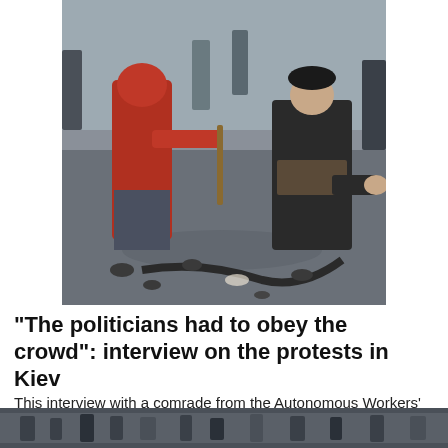[Figure (photo): Crowd scene in Kiev protests: a person in a red hoodie with face mask holds a stick near debris and rubble, while another person in a dark jacket and black hat gestures with their hand. Many people are visible in the background on a debris-strewn street.]
"The politicians had to obey the crowd": interview on the protests in Kiev
This interview with a comrade from the Autonomous Workers' Union in Kiev was done on January 28,...
[Figure (photo): Partial view of another protest photo at bottom of page, partially cropped.]